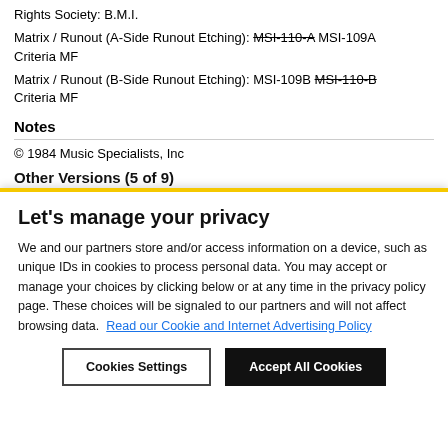Rights Society: B.M.I.
Matrix / Runout (A-Side Runout Etching): MSI-110-A MSI-109A Criteria MF
Matrix / Runout (B-Side Runout Etching): MSI-109B MSI-110-B Criteria MF
Notes
© 1984 Music Specialists, Inc
Other Versions (5 of 9)
Let's manage your privacy
We and our partners store and/or access information on a device, such as unique IDs in cookies to process personal data. You may accept or manage your choices by clicking below or at any time in the privacy policy page. These choices will be signaled to our partners and will not affect browsing data. Read our Cookie and Internet Advertising Policy
Cookies Settings
Accept All Cookies